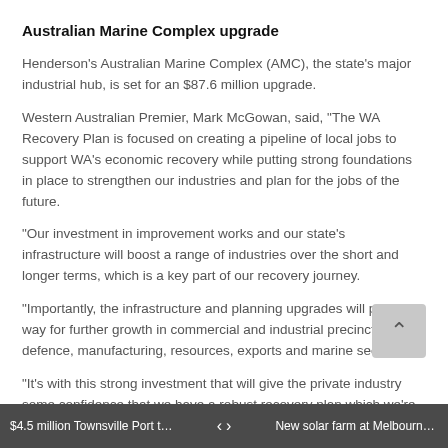Australian Marine Complex upgrade
Henderson's Australian Marine Complex (AMC), the state's major industrial hub, is set for an $87.6 million upgrade.
Western Australian Premier, Mark McGowan, said, "The WA Recovery Plan is focused on creating a pipeline of local jobs to support WA's economic recovery while putting strong foundations in place to strengthen our industries and plan for the jobs of the future.
"Our investment in improvement works and our state's infrastructure will boost a range of industries over the short and longer terms, which is a key part of our recovery journey.
"Importantly, the infrastructure and planning upgrades will pave the way for further growth in commercial and industrial precincts, our defence, manufacturing, resources, exports and marine sectors.
"It's with this strong investment that will give the private industry some confidence that we have a robust recovery plan which we're implementing, and we hope this spurs the private sector into supporting the economic development."
$4.5 million Townsville Port truck stagin... push on with new proj... New solar farm at Melbourne Airport